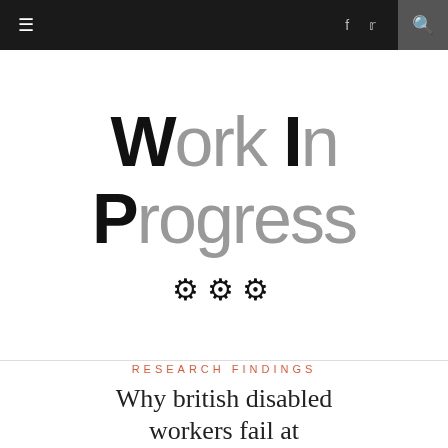≡  f  ✦  🔍
[Figure (logo): Work In Progress logo with bold W and P letters in black, remaining letters in gray, with three gear icons below]
Research Findings
Why british disabled workers fail at